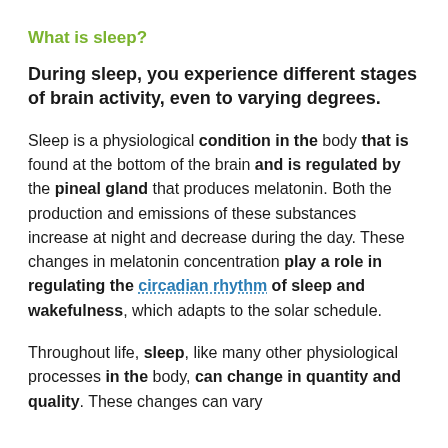What is sleep?
During sleep, you experience different stages of brain activity, even to varying degrees.
Sleep is a physiological condition in the body that is found at the bottom of the brain and is regulated by the pineal gland that produces melatonin. Both the production and emissions of these substances increase at night and decrease during the day. These changes in melatonin concentration play a role in regulating the circadian rhythm of sleep and wakefulness, which adapts to the solar schedule.
Throughout life, sleep, like many other physiological processes in the body, can change in quantity and quality. These changes can vary...